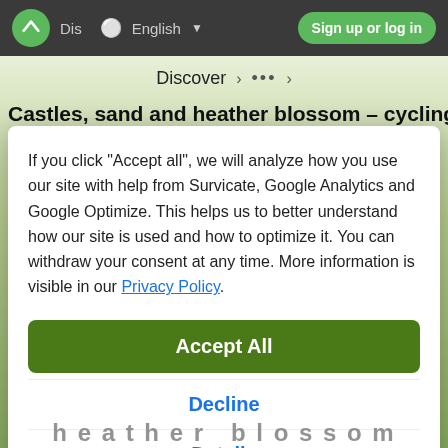Dis  English  Sign up or log in
Discover > ··· >
Castles, sand and heather blossom – cycling
If you click "Accept all", we will analyze how you use our site with help from Survicate, Google Analytics and Google Optimize. This helps us to better understand how our site is used and how to optimize it. You can withdraw your consent at any time. More information is visible in our Privacy Policy.
Accept All
Decline
Details